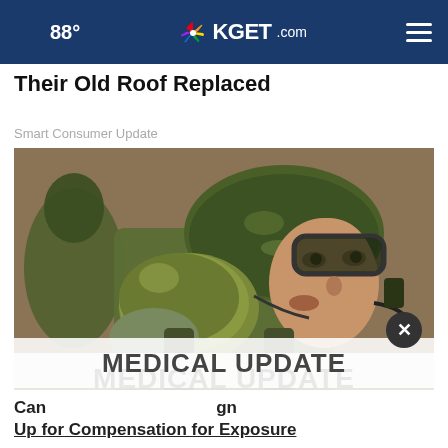88° KGET.com
Their Old Roof Replaced
Smart Consumer Update
[Figure (photo): A soldier wearing a camouflage helmet and tactical gear, drinking from a military canteen or flask, with a microphone/headset attached to the helmet. Another soldier is partially visible in the background. Close-up shot with shallow depth of field.]
MEDICAL UPDATE
Can Sign Up for Compensation for Exposure